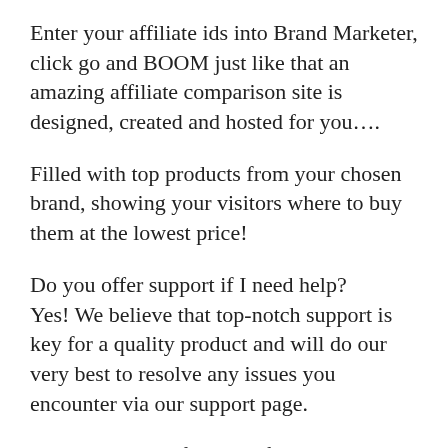Enter your affiliate ids into Brand Marketer, click go and BOOM just like that an amazing affiliate comparison site is designed, created and hosted for you….
Filled with top products from your chosen brand, showing your visitors where to buy them at the lowest price!
Do you offer support if I need help?
Yes! We believe that top-notch support is key for a quality product and will do our very best to resolve any issues you encounter via our support page.
Do I get updates for the software?
Yes! All updates are delivered automatically free of charge.